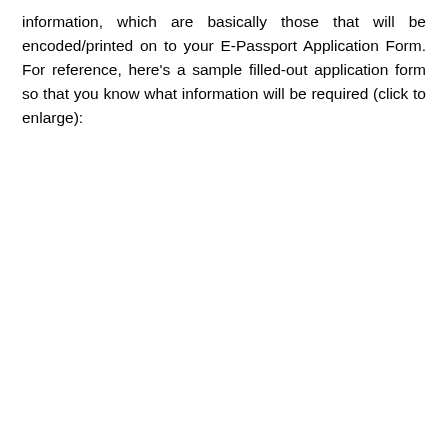information, which are basically those that will be encoded/printed on to your E-Passport Application Form. For reference, here's a sample filled-out application form so that you know what information will be required (click to enlarge):